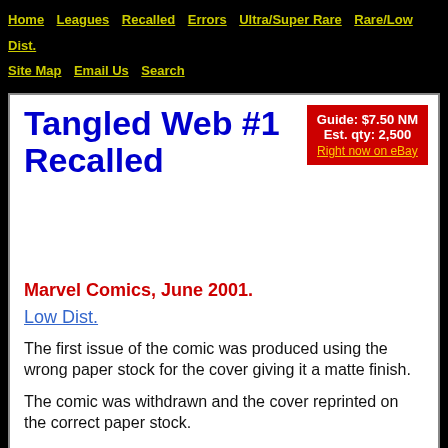Home   Leagues   Recalled   Errors   Ultra/Super Rare   Rare/Low Dist.   Site Map   Email Us   Search
Tangled Web #1 Recalled
Guide: $7.50 NM
Est. qty: 2,500
Right now on eBay
Marvel Comics, June 2001.
Low Dist.
The first issue of the comic was produced using the wrong paper stock for the cover giving it a matte finish.
The comic was withdrawn and the cover reprinted on the correct paper stock.
This comic book has been freely available in the past but seems to lack the demand with very few comics sold and a low number CGC graded.
Right now on eBay